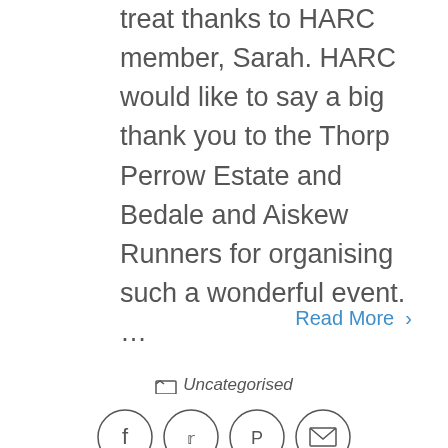treat thanks to HARC member, Sarah. HARC would like to say a big thank you to the Thorp Perrow Estate and Bedale and Aiskew Runners for organising such a wonderful event. …
Read More ›
Uncategorised
[Figure (other): Social sharing icons: Facebook, Twitter, Pinterest, Email]
Track and Field Taster Day